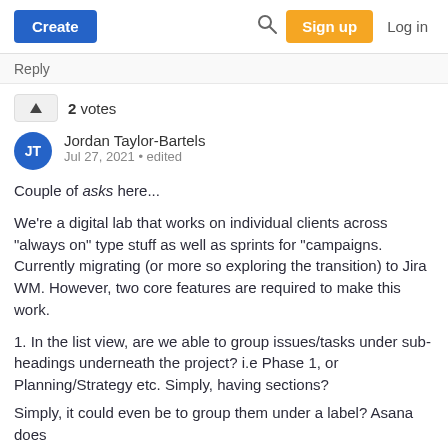Create | Search | Sign up | Log in
Reply
2 votes
Jordan Taylor-Bartels
Jul 27, 2021 • edited
Couple of asks here...
We're a digital lab that works on individual clients across "always on" type stuff as well as sprints for "campaigns. Currently migrating (or more so exploring the transition) to Jira WM. However, two core features are required to make this work.
1. In the list view, are we able to group issues/tasks under sub-headings underneath the project? i.e Phase 1, or Planning/Strategy etc. Simply, having sections?
Simply, it could even be to group them under a label? Asana does